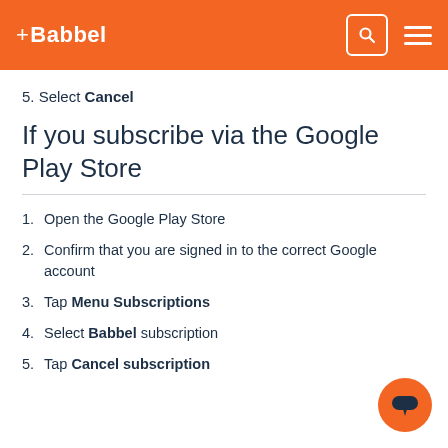+Babbel
5. Select Cancel
If you subscribe via the Google Play Store
1. Open the Google Play Store
2. Confirm that you are signed in to the correct Google account
3. Tap Menu Subscriptions
4. Select Babbel subscription
5. Tap Cancel subscription